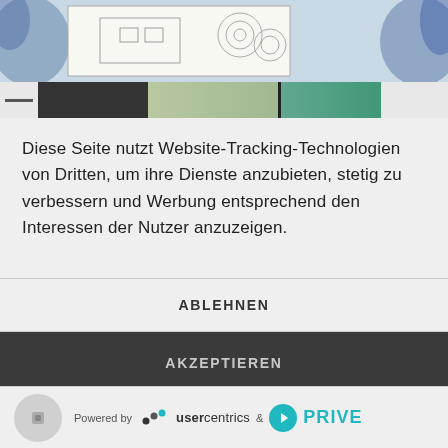[Figure (screenshot): Top portion of a webpage showing a collage of images including a hand-drawn blueprint/schematic and colorful abstract images in a thumbnail strip]
Diese Seite nutzt Website-Tracking-Technologien von Dritten, um ihre Dienste anzubieten, stetig zu verbessern und Werbung entsprechend den Interessen der Nutzer anzuzeigen.
ABLEHNEN
AKZEPTIEREN
MEHR
Powered by usercentrics & PRIVE